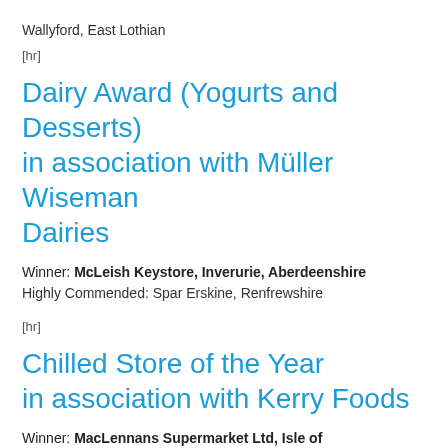Wallyford, East Lothian
[hr]
Dairy Award (Yogurts and Desserts) in association with Müller Wiseman Dairies
Winner: McLeish Keystore, Inverurie, Aberdeenshire
Highly Commended: Spar Erskine, Renfrewshire
[hr]
Chilled Store of the Year in association with Kerry Foods
Winner: MacLennans Supermarket Ltd, Isle of